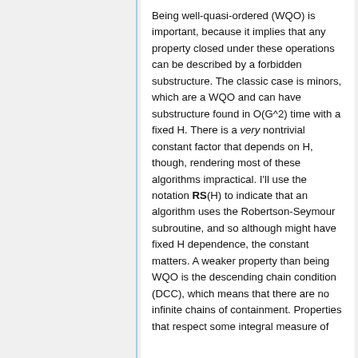Being well-quasi-ordered (WQO) is important, because it implies that any property closed under these operations can be described by a forbidden substructure. The classic case is minors, which are a WQO and can have substructure found in O(G^2) time with a fixed H. There is a very nontrivial constant factor that depends on H, though, rendering most of these algorithms impractical. I'll use the notation RS(H) to indicate that an algorithm uses the Robertson-Seymour subroutine, and so although might have fixed H dependence, the constant matters. A weaker property than being WQO is the descending chain condition (DCC), which means that there are no infinite chains of containment. Properties that respect some integral measure of